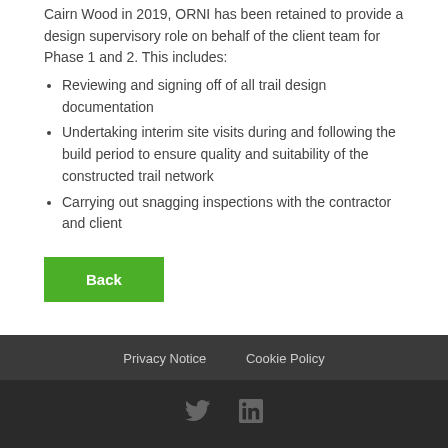Cairn Wood in 2019, ORNI has been retained to provide a design supervisory role on behalf of the client team for Phase 1 and 2. This includes:
Reviewing and signing off of all trail design documentation
Undertaking interim site visits during and following the build period to ensure quality and suitability of the constructed trail network
Carrying out snagging inspections with the contractor and client
Back
Privacy Notice   Cookie Policy
web by 31interactive